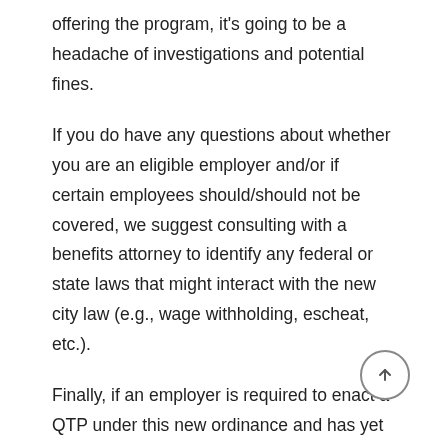offering the program, it's going to be a headache of investigations and potential fines.
If you do have any questions about whether you are an eligible employer and/or if certain employees should/should not be covered, we suggest consulting with a benefits attorney to identify any federal or state laws that might interact with the new city law (e.g., wage withholding, escheat, etc.).
Finally, if an employer is required to enact a QTP under this new ordinance and has yet to implement a full Flexible Spending Account (FSA) program – which can include the ability for employees to pay